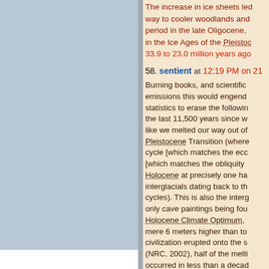[Figure (screenshot): Left sidebar panel with blue-grey background and a 'Look up a Term' button at the bottom]
The increase in ice sheets led way to cooler woodlands and period in the late Oligocene, in the Ice Ages of the Pleistoc 33.9 to 23.0 million years ago
58. sentient at 12:19 PM on 21
Burning books, and scientific emissions this would engend statistics to erase the followin the last 11,500 years since w like we melted our way out of Pleistocene Transition (where cycle [which matches the eco [which matches the obliquity Holocene at precisely one ha interglacials dating back to th cycles). This is also the interg only cave paintings being fou Holocene Climate Optimum, mere 6 meters higher than to civilization erupted onto the s (NRC, 2002), half of the melti occurred in less than a decad and interglacials result in typi interglacial, the Eemian or pe of the species Homo sapiens a precessional cycle. It ended